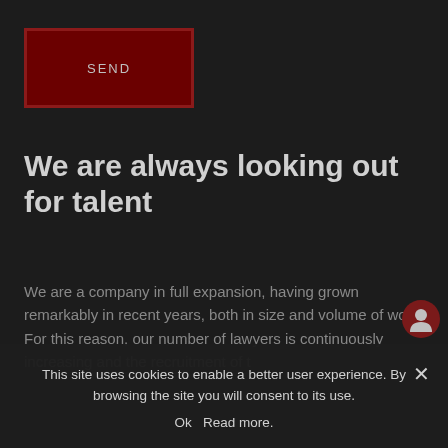[Figure (other): Dark red SEND button with border]
We are always looking out for talent
We are a company in full expansion, having grown remarkably in recent years, both in size and volume of work. For this reason, our number of lawyers is continuously increasing and the recruitment of t
This site uses cookies to enable a better user experience. By browsing the site you will consent to its use.
Ok   Read more.